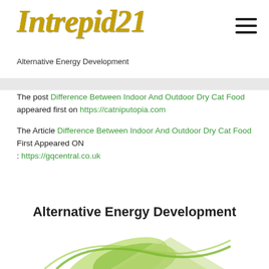[Figure (logo): Intrepid21 logo in gold/yellow italic metallic text]
Alternative Energy Development
[Figure (screenshot): Partial navigation bar strip with blurred icons]
The post Difference Between Indoor And Outdoor Dry Cat Food appeared first on https://catniputopia.com
The Article Difference Between Indoor And Outdoor Dry Cat Food First Appeared ON
: https://gqcentral.co.uk
Alternative Energy Development
[Figure (illustration): Green leaf/plant logo illustration at bottom of page]